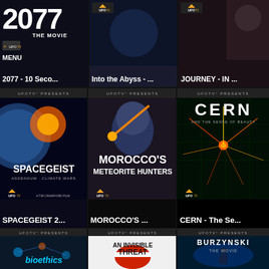[Figure (screenshot): UFOTV streaming app interface showing a grid of movie thumbnails. Top row shows partially visible cards: '2077 - 10 Seco...', 'Into the Abyss - ...', 'JOURNEY - IN ...'. Middle row shows full cards: 'SPACEGEIST 2...', 'MOROCCO'S ...', 'CERN - The Se...'. Bottom row shows partially visible cards: bioethics, AN INVISIBLE THREAT, BURZYNSKI THE MOVIE.]
2077 THE MOVIE
MENU
2077 - 10 Seco...
Into the Abyss - ...
JOURNEY - IN ...
SPACEGEIST 2...
MOROCCO'S ...
CERN - The Se...
bioethics
AN INVISIBLE THREAT
BURZYNSKI THE MOVIE